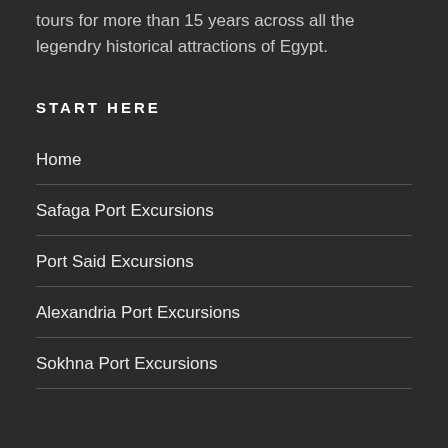tours for more than 15 years across all the legendry historical attractions of Egypt.
START HERE
Home
Safaga Port Excursions
Port Said Excursions
Alexandria Port Excursions
Sokhna Port Excursions